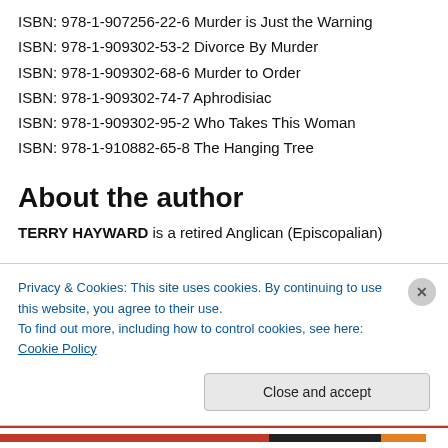ISBN: 978-1-907256-22-6 Murder is Just the Warning
ISBN: 978-1-909302-53-2 Divorce By Murder
ISBN: 978-1-909302-68-6 Murder to Order
ISBN: 978-1-909302-74-7 Aphrodisiac
ISBN: 978-1-909302-95-2 Who Takes This Woman
ISBN: 978-1-910882-65-8 The Hanging Tree
About the author
TERRY HAYWARD is a retired Anglican (Episcopalian)
Privacy & Cookies: This site uses cookies. By continuing to use this website, you agree to their use.
To find out more, including how to control cookies, see here: Cookie Policy
Close and accept